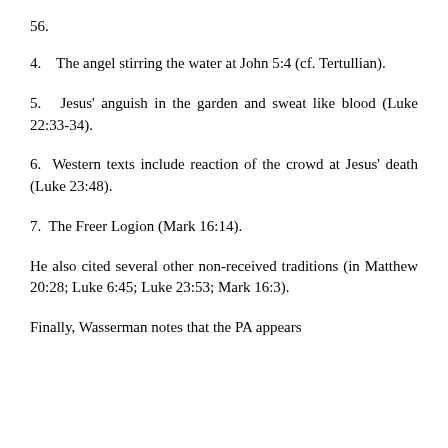56.
4.    The angel stirring the water at John 5:4 (cf. Tertullian).
5.   Jesus' anguish in the garden and sweat like blood (Luke 22:33-34).
6.  Western texts include reaction of the crowd at Jesus' death (Luke 23:48).
7.  The Freer Logion (Mark 16:14).
He also cited several other non-received traditions (in Matthew 20:28; Luke 6:45; Luke 23:53; Mark 16:3).
Finally, Wasserman notes that the PA appears